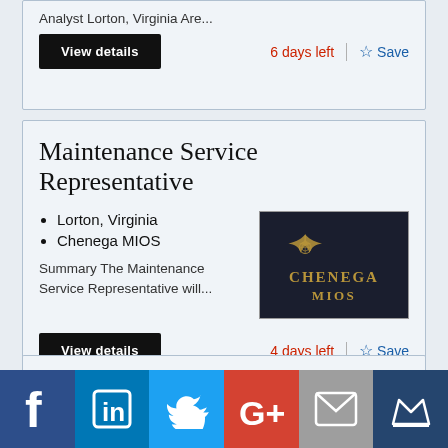Analyst Lorton, Virginia Are...
View details
6 days left
Save
Maintenance Service Representative
Lorton, Virginia
Chenega MIOS
Summary The Maintenance Service Representative will...
[Figure (logo): Chenega MIOS logo — dark navy background with gold eagle/compass imagery and 'CHENEGA MIOS' text in gold]
View details
4 days left
Save
[Figure (infographic): Social sharing bar with icons for Facebook, LinkedIn, Twitter, Google+, Email, and a crown/Mute icon]